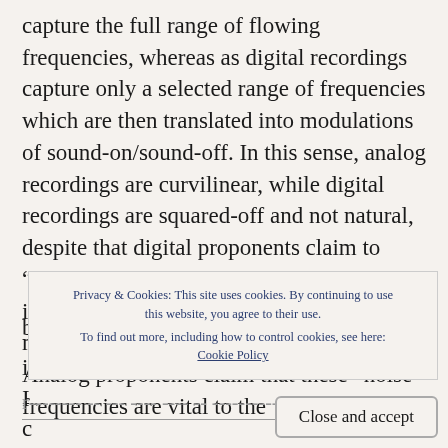capture the full range of flowing frequencies, whereas as digital recordings capture only a selected range of frequencies which are then translated into modulations of sound-on/sound-off. In this sense, analog recordings are curvilinear, while digital recordings are squared-off and not natural, despite that digital proponents claim to “add back in” the curvilinear aspect, which is entirely untenable due to the selected mitigation of so-called “noise” frequencies. Analog proponents claim that these “noise” frequencies are vital to the
Privacy & Cookies: This site uses cookies. By continuing to use this website, you agree to their use.
To find out more, including how to control cookies, see here:
Cookie Policy
Close and accept